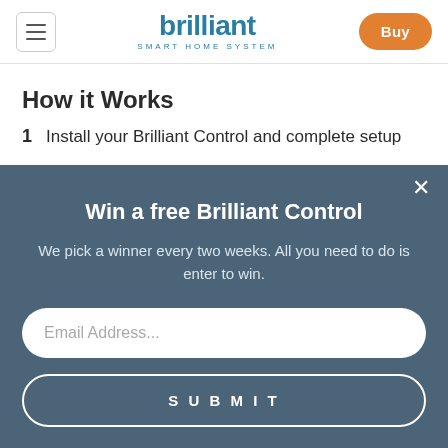brilliant SMART HOME SYSTEM | Buy
How it Works
1  Install your Brilliant Control and complete setup
Win a free Brilliant Control
We pick a winner every two weeks. All you need to do is enter to win.
Email Address...
SUBMIT